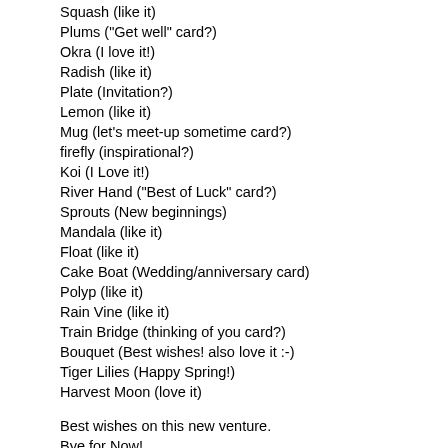Squash (like it)
Plums ("Get well" card?)
Okra (I love it!)
Radish (like it)
Plate (Invitation?)
Lemon (like it)
Mug (let's meet-up sometime card?)
firefly (inspirational?)
Koi (I Love it!)
River Hand ("Best of Luck" card?)
Sprouts (New beginnings)
Mandala (like it)
Float (like it)
Cake Boat (Wedding/anniversary card)
Polyp (like it)
Rain Vine (like it)
Train Bridge (thinking of you card?)
Bouquet (Best wishes! also love it :-)
Tiger Lilies (Happy Spring!)
Harvest Moon (love it)
Best wishes on this new venture.
Bye for Now!